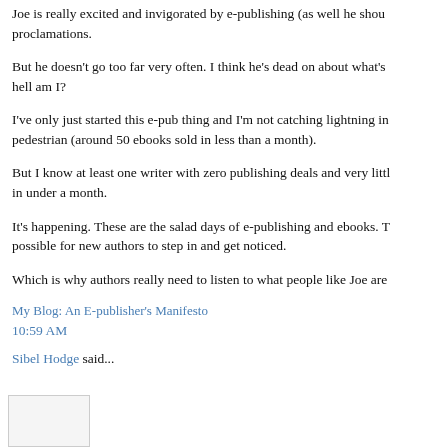Joe is really excited and invigorated by e-publishing (as well he shou proclamations.
But he doesn't go too far very often. I think he's dead on about what's hell am I?
I've only just started this e-pub thing and I'm not catching lightning in pedestrian (around 50 ebooks sold in less than a month).
But I know at least one writer with zero publishing deals and very litt in under a month.
It's happening. These are the salad days of e-publishing and ebooks. T possible for new authors to step in and get noticed.
Which is why authors really need to listen to what people like Joe are
My Blog: An E-publisher's Manifesto
10:59 AM
Sibel Hodge said...